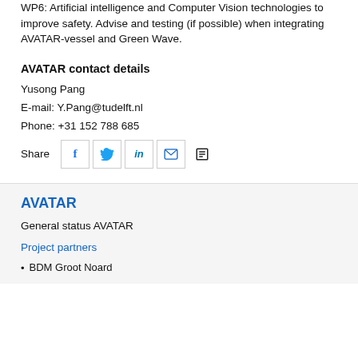WP6: Artificial intelligence and Computer Vision technologies to improve safety. Advise and testing (if possible) when integrating AVATAR-vessel and Green Wave.
AVATAR contact details
Yusong Pang
E-mail: Y.Pang@tudelft.nl
Phone: +31 152 788 685
Share
AVATAR
General status AVATAR
Project partners
BDM Groot Noard